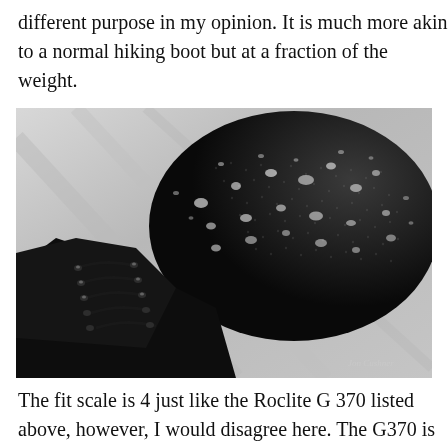different purpose in my opinion. It is much more akin to a normal hiking boot but at a fraction of the weight.
[Figure (photo): Close-up photo of a black hiking shoe/boot covered in water droplets, shot from above at an angle showing the toe box and laces. The shoe has a textured upper fabric. A small watermark/signature is visible in the bottom right corner.]
The fit scale is 4 just like the Roclite G 370 listed above, however, I would disagree here. The G370 is more of a 3 fit and the new G 400 a 4. There is a distinct difference in